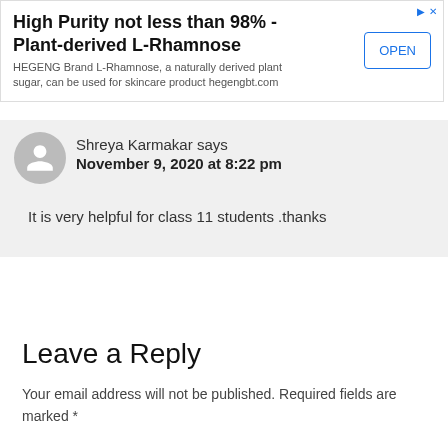[Figure (other): Advertisement banner for HEGENG Brand L-Rhamnose. Title: 'High Purity not less than 98% - Plant-derived L-Rhamnose'. Description: 'HEGENG Brand L-Rhamnose, a naturally derived plant sugar, can be used for skincare product hegengbt.com'. Button: OPEN.]
Shreya Karmakar says
November 9, 2020 at 8:22 pm
It is very helpful for class 11 students .thanks
Leave a Reply
Your email address will not be published. Required fields are marked *
Comment *